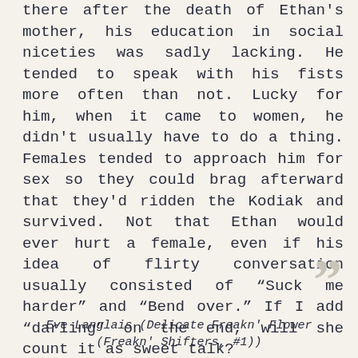there after the death of Ethan's mother, his education in social niceties was sadly lacking. He tended to speak with his fists more often than not. Lucky for him, when it came to women, he didn't usually have to do a thing. Females tended to approach him for sex so they could brag afterward that they'd ridden the Kodiak and survived. Not that Ethan would ever hurt a female, even if his idea of flirty conversation usually consisted of “Suck me harder” and “Bend over.” If I add “darling” on the end, will she count it as sweet talk?
Eve Langlais (Delicate Freakn' Flower (Freakn' Shifters, #1))